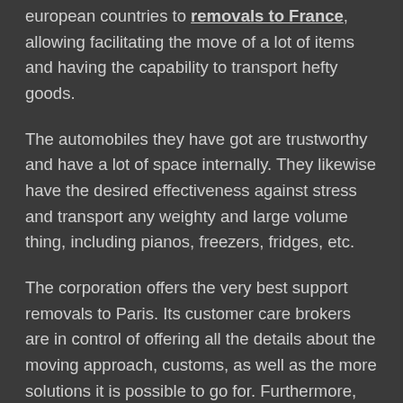european countries to removals to France, allowing facilitating the move of a lot of items and having the capability to transport hefty goods.
The automobiles they have got are trustworthy and have a lot of space internally. They likewise have the desired effectiveness against stress and transport any weighty and large volume thing, including pianos, freezers, fridges, etc.
The corporation offers the very best support removals to Paris. Its customer care brokers are in control of offering all the details about the moving approach, customs, as well as the more solutions it is possible to go for. Furthermore, the company also cares about your health and well-becoming this is why they have the services of preparing and unpacking goods to alleviate their potential